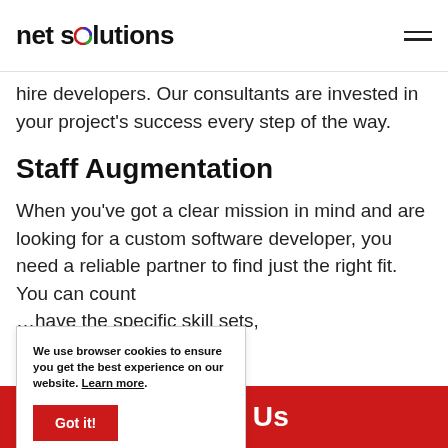net solutions
hire developers. Our consultants are invested in your project's success every step of the way.
Staff Augmentation
When you've got a clear mission in mind and are looking for a custom software developer, you need a reliable partner to find just the right fit. You can count on ... have the specific skill sets, ...ertise necessary to ...ouse team for best-case
We use browser cookies to ensure you get the best experience on our website. Learn more.
Got it!
ontact Us